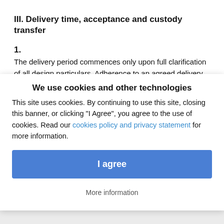III. Delivery time, acceptance and custody transfer
1.
The delivery period commences only upon full clarification of all design particulars. Adherence to an agreed delivery period is subject to the customer observing the contract obligations.
We use cookies and other technologies
This site uses cookies. By continuing to use this site, closing this banner, or clicking "I Agree", you agree to the use of cookies. Read our cookies policy and privacy statement for more information.
I agree
More information